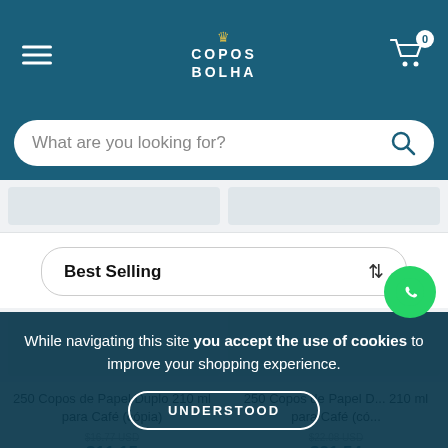COPOS BOLHA — navigation header with hamburger menu and cart (0 items)
What are you looking for?
Best Selling
250 Copos de Papel Duplo 210 ml para Café (cópia)
250 Copos de Papel D... 210 ml para Café (có...
$16.77 USD  $11.15
$22.08 USD  $21.54
In up to 12 installments of $1.13 USD
In up to 2 installments of $10.77 USD without interest
While navigating this site you accept the use of cookies to improve your shopping experience.
UNDERSTOOD